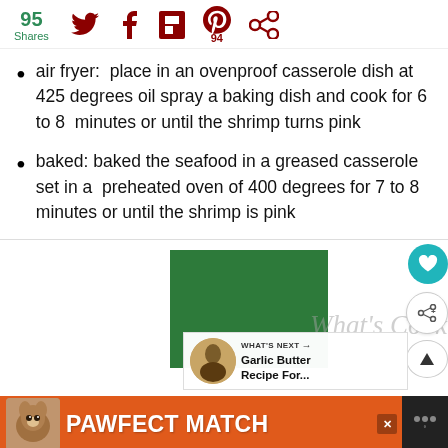95 Shares — social share bar with Twitter, Facebook, Flipboard, Pinterest (94), and circle share icons
air fryer:  place in an ovenproof casserole dish at 425 degrees oil spray a baking dish and cook for 6 to 8  minutes or until the shrimp turns pink
baked: baked the seafood in a greased casserole set in a  preheated oven of 400 degrees for 7 to 8 minutes or until the shrimp is pink
[Figure (screenshot): Partial image of a recipe card with green and dark red color blocks and script text 'What's Cookin' with social save/share buttons and a 'What's Next' overlay showing Garlic Butter Recipe For...]
[Figure (photo): PAWFECT MATCH advertisement banner with orange background, cat photo, bold white text, and close/share icons]